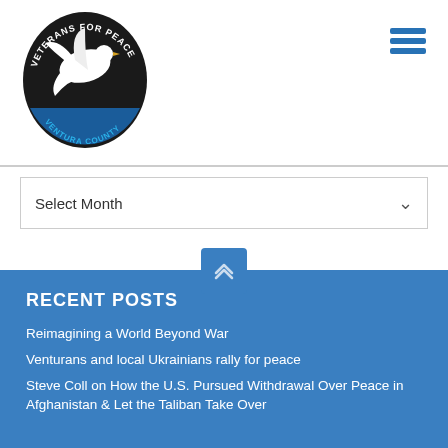[Figure (logo): Veterans For Peace Ventura County circular logo with a white dove on black background and blue text]
[Figure (other): Blue hamburger menu icon (three horizontal lines) in top right corner]
Select Month
[Figure (other): Blue scroll-to-top button with double chevron/arrow up symbol]
RECENT POSTS
Reimagining a World Beyond War
Venturans and local Ukrainians rally for peace
Steve Coll on How the U.S. Pursued Withdrawal Over Peace in Afghanistan & Let the Taliban Take Over